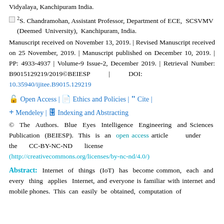Vidyalaya, Kanchipuram India.
2S. Chandramohan, Assistant Professor, Department of ECE, SCSVMV (Deemed University), Kanchipuram, India.
Manuscript received on November 13, 2019. | Revised Manuscript received on 25 November, 2019. | Manuscript published on December 10, 2019. | PP: 4933-4937 | Volume-9 Issue-2, December 2019. | Retrieval Number: B9015129219/2019©BEIESP | DOI: 10.35940/ijitee.B9015.129219
🔓 Open Access | 📄 Ethics and Policies | " Cite | + Mendeley | 🗄 Indexing and Abstracting
© The Authors. Blue Eyes Intelligence Engineering and Sciences Publication (BEIESP). This is an open access article under the CC-BY-NC-ND license (http://creativecommons.org/licenses/by-nc-nd/4.0/)
Abstract: Internet of things (IoT) has become common, each and every thing applies Internet, and everyone is familiar with internet and mobile phones. This can easily be obtained, computation of